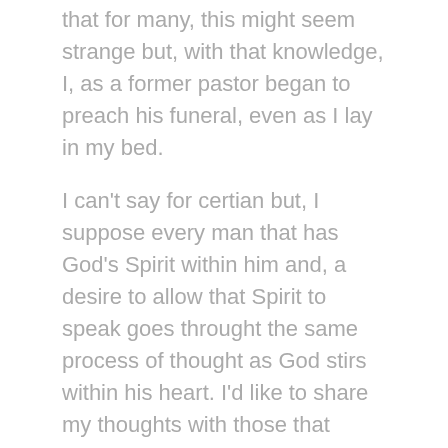that for many, this might seem strange but, with that knowledge, I, as a former pastor began to preach his funeral, even as I lay in my bed.
I can't say for certian but, I suppose every man that has God's Spirit within him and, a desire to allow that Spirit to speak goes throught the same process of thought as God stirs within his heart. I'd like to share my thoughts with those that might choose to listen.
As I considered how much of a loss this must be to a loving wife, loving children, grandchildren and every person, including me that loved this man, I also thought! Everytime he and I would come together for even just a few minutes; our conversation would always turn to Jesus Christ and the Word of God.